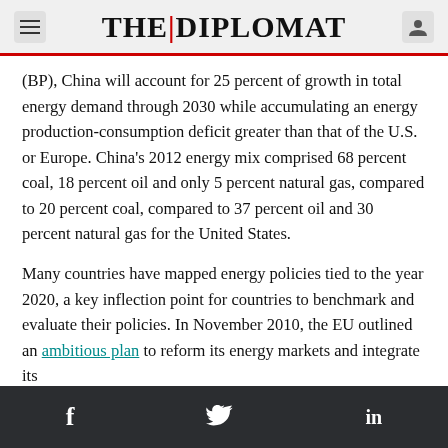THE DIPLOMAT
(BP), China will account for 25 percent of growth in total energy demand through 2030 while accumulating an energy production-consumption deficit greater than that of the U.S. or Europe. China’s 2012 energy mix comprised 68 percent coal, 18 percent oil and only 5 percent natural gas, compared to 20 percent coal, compared to 37 percent oil and 30 percent natural gas for the United States.
Many countries have mapped energy policies tied to the year 2020, a key inflection point for countries to benchmark and evaluate their policies. In November 2010, the EU outlined an ambitious plan to reform its energy markets and integrate its
f  🐦  in